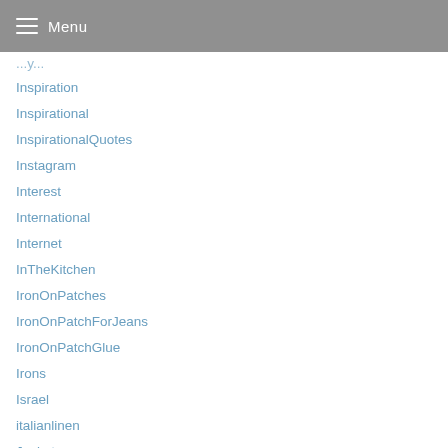Menu
Inspiration
Inspirational
InspirationalQuotes
Instagram
Interest
International
Internet
InTheKitchen
IronOnPatches
IronOnPatchForJeans
IronOnPatchGlue
Irons
Israel
italianlinen
Jackets
JaneDeals